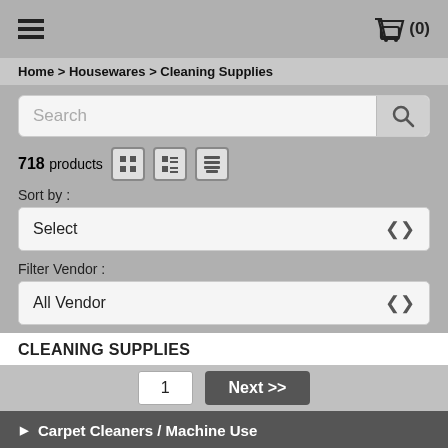[Figure (screenshot): Top navigation bar with hamburger menu icon on the left and shopping cart with (0) on the right]
Home > Housewares > Cleaning Supplies
[Figure (screenshot): Search input box with placeholder text 'Search' and a search button with magnifying glass icon]
718 products
Sort by :
Select
Filter Vendor :
All Vendor
CLEANING SUPPLIES
1
Next >>
Carpet Cleaners / Machine Use
Floor & Carpet Cleaners
Furniture Cleaner & Protectant
Removers